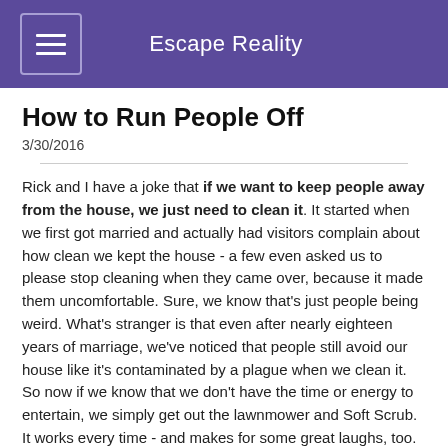Escape Reality
How to Run People Off
3/30/2016
Rick and I have a joke that if we want to keep people away from the house, we just need to clean it. It started when we first got married and actually had visitors complain about how clean we kept the house - a few even asked us to please stop cleaning when they came over, because it made them uncomfortable. Sure, we know that's just people being weird. What's stranger is that even after nearly eighteen years of marriage, we've noticed that people still avoid our house like it's contaminated by a plague when we clean it. So now if we know that we don't have the time or energy to entertain, we simply get out the lawnmower and Soft Scrub. It works every time - and makes for some great laughs, too.
That's not the only thing that runs people off. Today, we'll take a tongue-in-cheek look at how to run people off and clear your calendar.